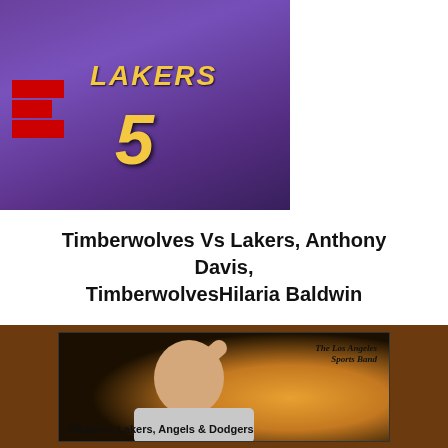[Figure (photo): ESPN thumbnail showing a Lakers player (#5) in purple and gold jersey on the left with ESPN logo, and a bearded man on the right]
Timberwolves Vs Lakers, Anthony Davis, TimberwolvesHilaria Baldwin
[Figure (photo): Thumbnail image with brown background showing a man with hand on head and text 'The Los Angeles Sports Band' and 'Clippers, Lakers, Angels & Dodgers']